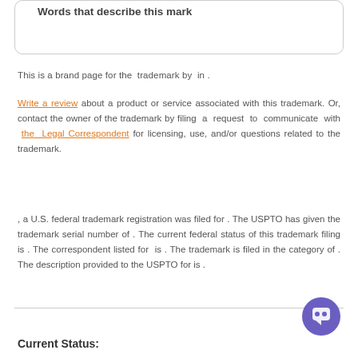Words that describe this mark
This is a brand page for the  trademark by  in .
Write a review about a product or service associated with this trademark. Or, contact the owner of the trademark by filing a request to communicate with the Legal Correspondent for licensing, use, and/or questions related to the trademark.
, a U.S. federal trademark registration was filed for . The USPTO has given the trademark serial number of . The current federal status of this trademark filing is . The correspondent listed for is . The trademark is filed in the category of . The description provided to the USPTO for is .
Current Status: